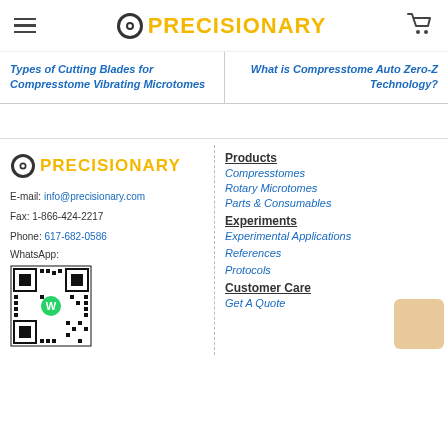PRECISIONARY
Types of Cutting Blades for Compresstome Vibrating Microtomes
What is Compresstome Auto Zero-Z Technology?
[Figure (logo): Precisionary logo with spinning P icon]
E-mail: info@precisionary.com
Fax: 1-866-424-2217
Phone: 617-682-0586
WhatsApp:
[Figure (other): WhatsApp QR code]
Products
Compresstomes
Rotary Microtomes
Parts & Consumables
Experiments
Experimental Applications
References
Protocols
Customer Care
Get A Quote